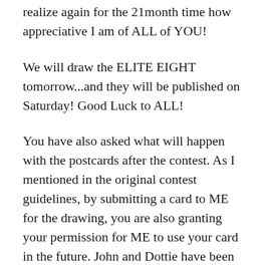realize again for the 21month time how appreciative I am of ALL of YOU!
We will draw the ELITE EIGHT tomorrow...and they will be published on Saturday! Good Luck to ALL!
You have also asked what will happen with the postcards after the contest. As I mentioned in the original contest guidelines, by submitting a card to ME for the drawing, you are also granting your permission for ME to use your card in the future. John and Dottie have been reading them and enjoying all of your wonderful and inspirational thoughts. In the future, Dottie will think of a way to share them with ALL of YOU...in one form or